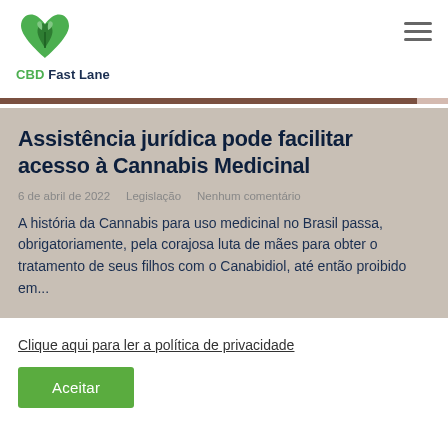CBD Fast Lane
Assistência jurídica pode facilitar acesso à Cannabis Medicinal
6 de abril de 2022   Legislação   Nenhum comentário
A história da Cannabis para uso medicinal no Brasil passa, obrigatoriamente, pela corajosa luta de mães para obter o tratamento de seus filhos com o Canabidiol, até então proibido em...
Clique aqui para ler a política de privacidade
Aceitar